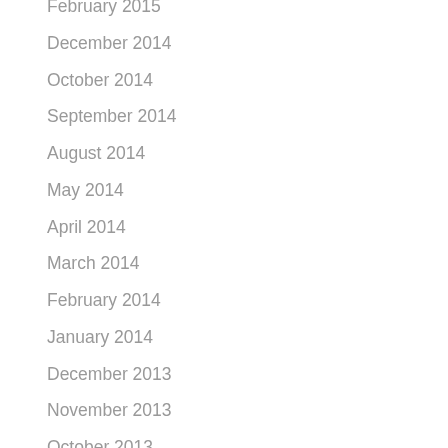February 2015
December 2014
October 2014
September 2014
August 2014
May 2014
April 2014
March 2014
February 2014
January 2014
December 2013
November 2013
October 2013
July 2013
June 2013